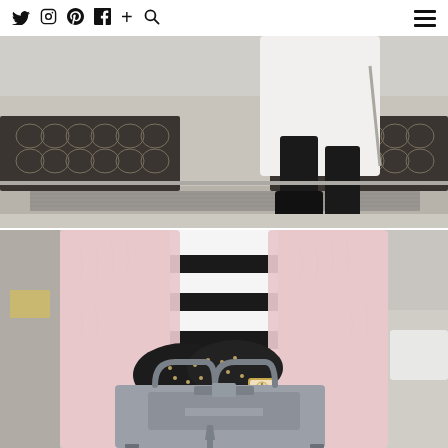Social icons: Twitter, Instagram, Pinterest, Facebook, Plus, Search | Hamburger menu
[Figure (photo): Street fashion photo cropped to lower body: person wearing white coat, black skinny pants, and black ankle boots, carrying a grey bag, walking on a city sidewalk with ornate stone architecture in the background.]
[Figure (photo): Close-up street fashion photo of a person wearing a pink faux fur coat over a black and white striped top, black studded leather gloves, a gold watch, and holding a grey structured Saint Laurent Sac de Jour handbag.]